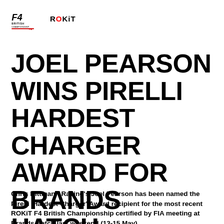F4 British Championship ROKiT
JOEL PEARSON WINS PIRELLI HARDEST CHARGER AWARD FOR BRANDS HATCH
Chris Dittmann Racing's Joel Pearson has been named the Pirelli 'Hardest Charger' Award recipient for the most recent ROKiT F4 British Championship certified by FIA meeting at Brands Hatch last weekend (13-15 May).